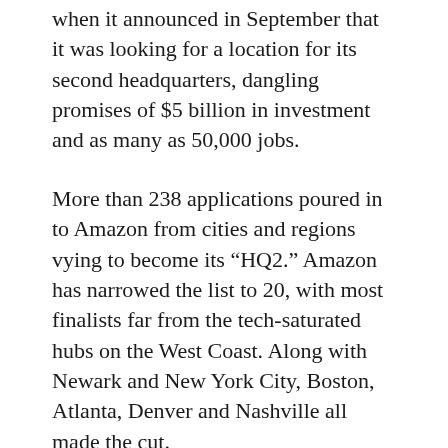when it announced in September that it was looking for a location for its second headquarters, dangling promises of $5 billion in investment and as many as 50,000 jobs.
More than 238 applications poured in to Amazon from cities and regions vying to become its “HQ2.” Amazon has narrowed the list to 20, with most finalists far from the tech-saturated hubs on the West Coast. Along with Newark and New York City, Boston, Atlanta, Denver and Nashville all made the cut.
“New York gets two bites of the apple,” said Patrick L. Anderson, of the Anderson Economic Group, which advises cities on economic development and